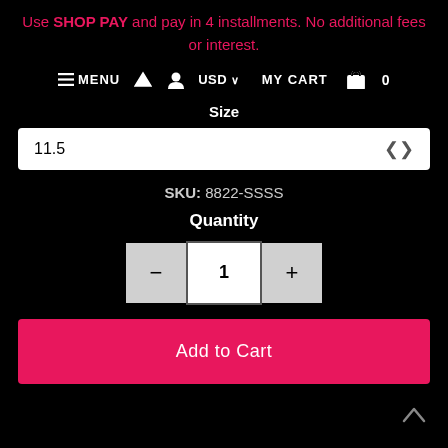Use SHOP PAY and pay in 4 installments. No additional fees or interest.
☰ MENU  🏠  👤  USD ∨  MY CART  🛍  0
Size
11.5
SKU: 8822-SSSS
Quantity
− 1 +
Add to Cart